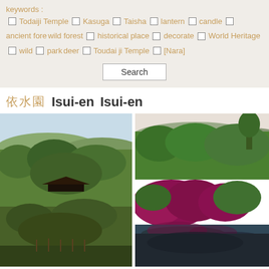keywords :
Todaiji Temple  Kasuga  Taisha  lantern  candle  ancient forest  wild forest  historical place  decorate  World Heritage  wild  park  deer  Toudai ji Temple  [Nara]
Search
依水園  Isui-en  Isui-en
[Figure (photo): Japanese garden at Isui-en, Nara. Left photo: traditional Japanese garden with green trees and a temple building visible among the foliage, with mountains in background. Right photo: colorful Japanese garden with vibrant pink/purple azalea bushes reflected in a pond, surrounded by lush green trees, mountains in background.]